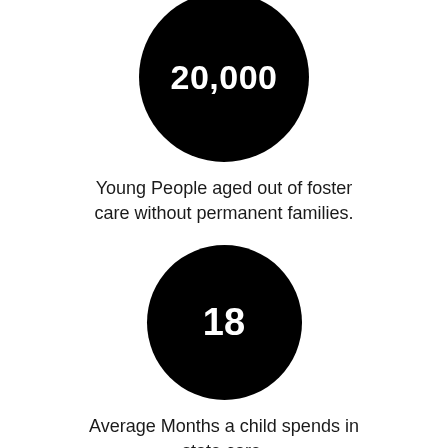[Figure (infographic): Large black circle with white bold text '20,000' centered inside]
Young People aged out of foster care without permanent families.
[Figure (infographic): Black circle with white bold text '18' centered inside]
Average Months a child spends in state care.